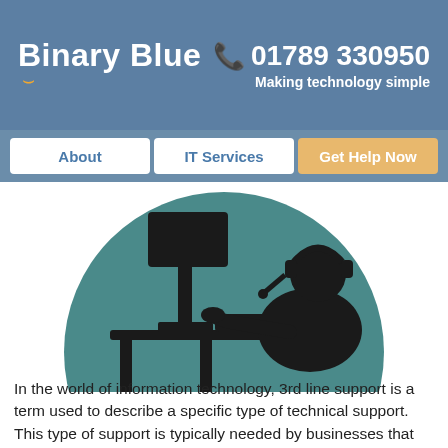Binary Blue  📞 01789 330950  Making technology simple
About
IT Services
Get Help Now
[Figure (illustration): Silhouette of a person wearing a headset and working at a computer, set against a teal circular background. The figure is shown in black silhouette profile view.]
In the world of information technology, 3rd line support is a term used to describe a specific type of technical support. This type of support is typically needed by businesses that have reached a certain size or level of complexity, and it can be very helpful in resolving issues and keeping operations running smoothly. If [...]